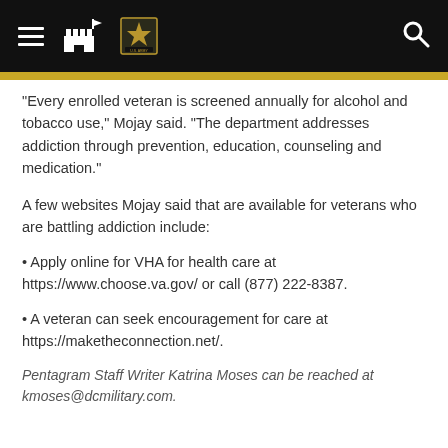U.S. Army navigation header with hamburger menu, castle icon, Army star logo, and search icon
“Every enrolled veteran is screened annually for alcohol and tobacco use,” Mojay said. “The department addresses addiction through prevention, education, counseling and medication.”
A few websites Mojay said that are available for veterans who are battling addiction include:
Apply online for VHA for health care at https://www.choose.va.gov/ or call (877) 222-8387.
A veteran can seek encouragement for care at https://maketheconnection.net/.
Pentagram Staff Writer Katrina Moses can be reached at kmoses@dcmilitary.com.